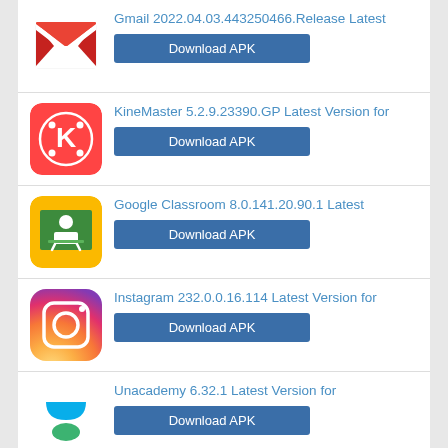Gmail 2022.04.03.443250466.Release Latest — Download APK
KineMaster 5.2.9.23390.GP Latest Version for — Download APK
Google Classroom 8.0.141.20.90.1 Latest — Download APK
Instagram 232.0.0.16.114 Latest Version for — Download APK
Unacademy 6.32.1 Latest Version for — Download APK
Mobile Legends: Bang Bang 1.6.72.7351